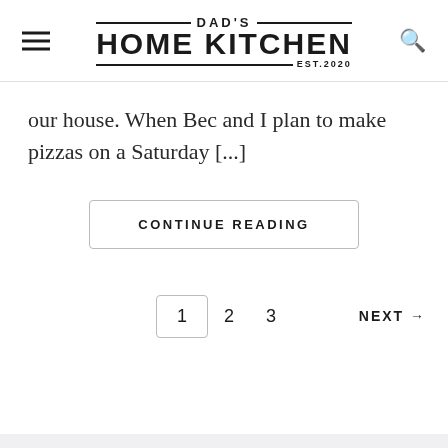DAD'S HOME KITCHEN EST.2020
our house. When Bec and I plan to make pizzas on a Saturday [...]
CONTINUE READING
1  2  3  NEXT →